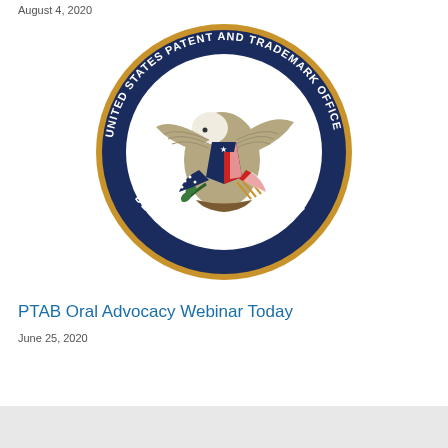August 4, 2020
[Figure (logo): United States Patent and Trademark Office, Department of Commerce seal. Navy blue circular seal with gold border, featuring an eagle holding olive branch and arrows, with American flag shield, centered on a brown ground.]
PTAB Oral Advocacy Webinar Today
June 25, 2020